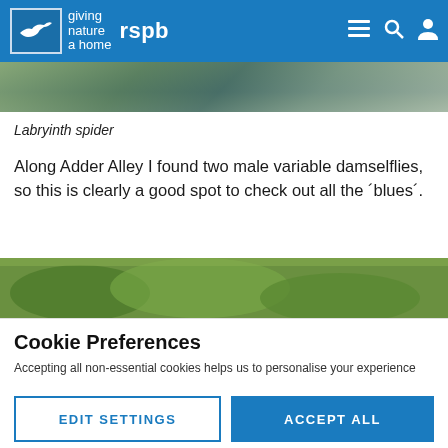rspb giving nature a home
[Figure (photo): Top photo strip showing water/spider habitat scene]
Labryinth spider
Along Adder Alley I found two male variable damselflies, so this is clearly a good spot to check out all the ʹbluesʹ.
[Figure (photo): Middle photo strip showing green foliage/plant scene]
Cookie Preferences
Accepting all non-essential cookies helps us to personalise your experience
EDIT SETTINGS   ACCEPT ALL